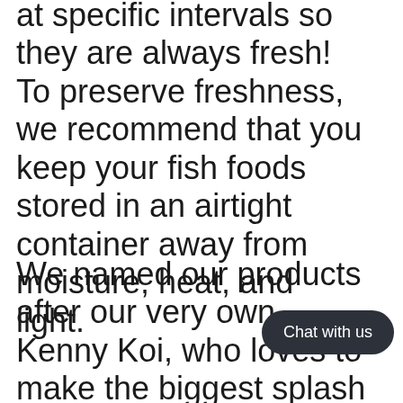at specific intervals so they are always fresh! To preserve freshness, we recommend that you keep your fish foods stored in an airtight container away from moisture, heat, and light.
We named our products after our very own Kenny Koi, who loves to make the biggest splash at feeding time! We your koi will make a
Chat with us